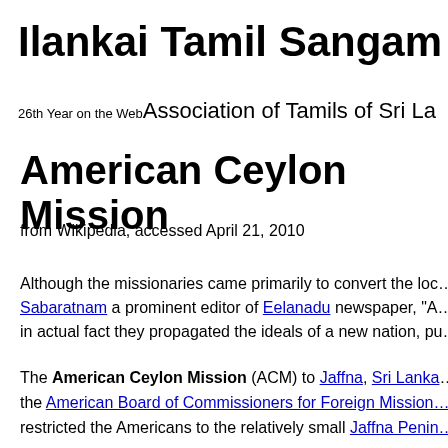Ilankai Tamil Sangam
26th Year on the Web Association of Tamils of Sri La…
American Ceylon Mission
from Wikipedia, accessed April 21, 2010
Although the missionaries came primarily to convert the loc… Sabaratnam a prominent editor of Eelanadu newspaper, "A… in actual fact they propagated the ideals of a new nation, pu…
The American Ceylon Mission (ACM) to Jaffna, Sri Lanka… the American Board of Commissioners for Foreign Mission… restricted the Americans to the relatively small Jaffna Penin…